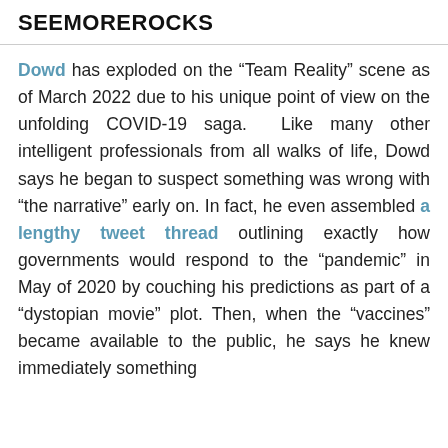SEEMOREROCKS
Dowd has exploded on the “Team Reality” scene as of March 2022 due to his unique point of view on the unfolding COVID-19 saga. Like many other intelligent professionals from all walks of life, Dowd says he began to suspect something was wrong with “the narrative” early on. In fact, he even assembled a lengthy tweet thread outlining exactly how governments would respond to the “pandemic” in May of 2020 by couching his predictions as part of a “dystopian movie” plot. Then, when the “vaccines” became available to the public, he says he knew immediately something